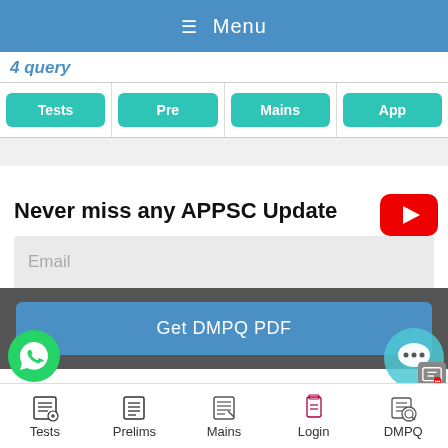≡ Menu
4 query
| Tests | Pre | Mains | App |
| --- | --- | --- | --- |
Never miss any APPSC Update
Email
Get DMPQ PDF
Tests | Prelims | Mains | Login | DMPQ